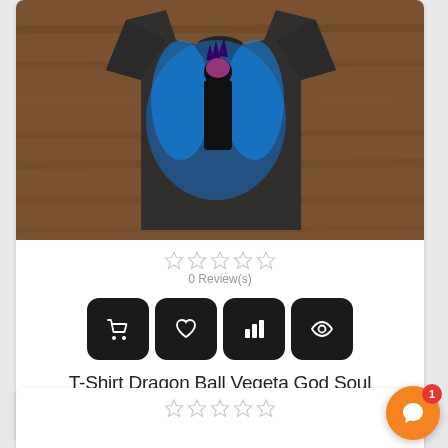[Figure (photo): Dark grey T-shirt with Dragon Ball Vegeta God Soul graphic design showing a character with blue energy wings, displayed on a wooden surface background]
0 Review(s)
[Figure (other): Four action buttons: shopping cart, heart (wishlist), bar chart (compare), and eye (quick view) — all dark rounded square buttons with white icons]
T-Shirt Dragon Ball Vegeta God Soul
€14.90 -€3.00 €17.90
[Figure (other): Partial second product card showing star rating icons at the bottom of the page]